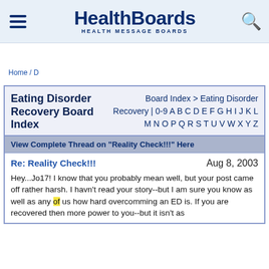HealthBoards — HEALTH MESSAGE BOARDS
Home / D
Eating Disorder Recovery Board Index
Board Index > Eating Disorder Recovery | 0-9 A B C D E F G H I J K L M N O P Q R S T U V W X Y Z
View Complete Thread on "Reality Check!!!" Here
Re: Reality Check!!!   Aug 8, 2003
Hey...Jo17! I know that you probably mean well, but your post came off rather harsh. I havn't read your story--but I am sure you know as well as any of us how hard overcomming an ED is. If you are recovered then more power to you--but it isn't as